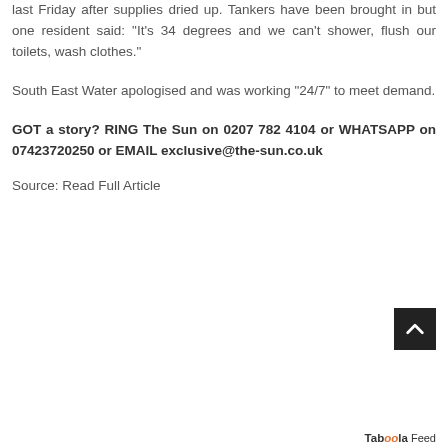last Friday after supplies dried up. Tankers have been brought in but one resident said: “It’s 34 degrees and we can’t shower, flush our toilets, wash clothes.”
South East Water apologised and was working “24/7” to meet demand.
GOT a story? RING The Sun on 0207 782 4104 or WHATSAPP on 07423720250 or EMAIL exclusive@the-sun.co.uk
Source: Read Full Article
[Figure (other): Scroll-to-top button (dark square with upward chevron arrow)]
Taboola Feed